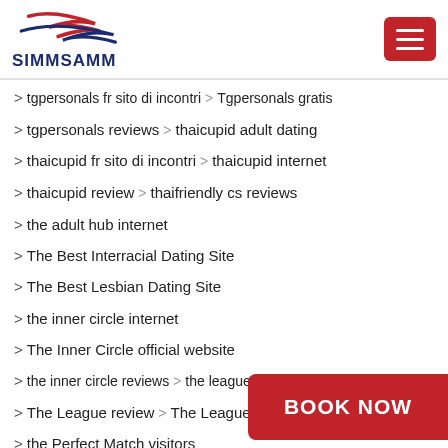SIMMSAMM
> tgpersonals fr sito di incontri > Tgpersonals gratis
> tgpersonals reviews > thaicupid adult dating
> thaicupid fr sito di incontri > thaicupid internet
> thaicupid review > thaifriendly cs reviews
> the adult hub internet
> The Best Interracial Dating Site
> The Best Lesbian Dating Site
> the inner circle internet
> The Inner Circle official website
> the inner circle reviews > the league adult dating
> The League review > The League reviews
> the Perfect Match visitors
> the-league-inceleme bu siteye bak
> three day rule dating > Three Day Rule visitors
> Threesome Sites Singlesei…
> Thunderkick gambling ca…
> …